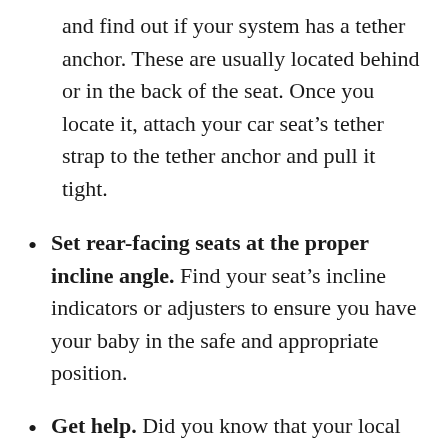and find out if your system has a tether anchor. These are usually located behind or in the back of the seat. Once you locate it, attach your car seat's tether strap to the tether anchor and pull it tight.
Set rear-facing seats at the proper incline angle. Find your seat's incline indicators or adjusters to ensure you have your baby in the safe and appropriate position.
Get help. Did you know that your local fire station or police station may provide free car seat checks? If you need some help or just want to make sure you installed your seat correctly, reach out to a trained Child Passenger Safety